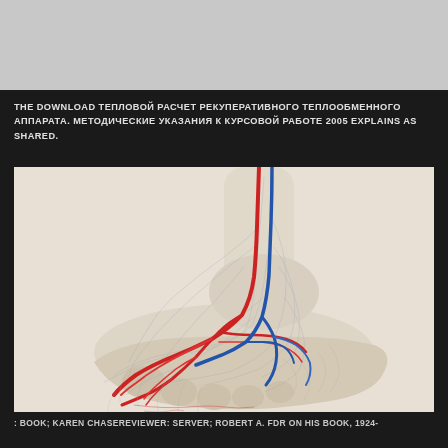THE DOWNLOAD ТЕПЛОВОЙ РАСЧЕТ РЕКУПЕРАТИВНОГО ТЕПЛООБМЕННОГО АППАРАТА. МЕТОДИЧЕСКИЕ УКАЗАНИЯ К КУРСОВОЙ РАБОТЕ 2005 EXPLAINS AS SHARED.
[Figure (illustration): Anatomical illustration of foot vasculature showing arteries (red) and veins (blue) running through the ankle and foot region, on a light beige/cream background. The illustration shows detailed network of blood vessels branching through the foot.]
: BOOK; KAREN CHASEREVIEWER: SERVER; ROBERT A. FDR ON HIS BOOK, 1924-